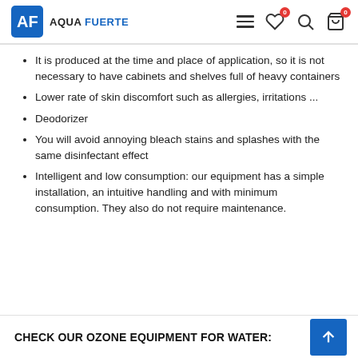AQUA FUERTE
It is produced at the time and place of application, so it is not necessary to have cabinets and shelves full of heavy containers
Lower rate of skin discomfort such as allergies, irritations ...
Deodorizer
You will avoid annoying bleach stains and splashes with the same disinfectant effect
Intelligent and low consumption: our equipment has a simple installation, an intuitive handling and with minimum consumption. They also do not require maintenance.
CHECK OUR OZONE EQUIPMENT FOR WATER: